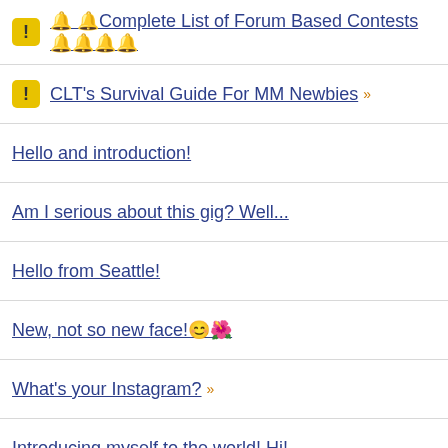🔔 🔔Complete List of Forum Based Contests🔔🔔🔔🔔
CLT's Survival Guide For MM Newbies »
Hello and introduction!
Am I serious about this gig? Well...
Hello from Seattle!
New, not so new face!😊🌺
What's your Instagram? »
Introducing myself to the world! Hi!
It's time to say hi :)
Hello world!
Just to say Hi.! here at MM, from Chicagoland area